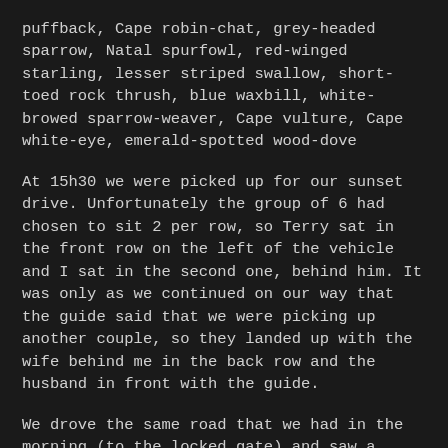puffback, Cape robin-chat, grey-headed sparrow, Natal spurfowl, red-winged starling, lesser striped swallow, short-toed rock thrush, blue waxbill, white-browed sparrow-weaver, Cape vulture, Cape white-eye, emerald-spotted wood-dove
At 15h30 we were picked up for our sunset drive. Unfortunately the group of 6 had chosen to sit 2 per row, so Terry sat in the front row on the left of the vehicle and I sat in the second one, behind him. It was only as we continued on our way that the guide said that we were picking up another couple, so they landed up with the wife behind me in the back row and the husband in front with the guide.
We drove the same road that we had in the morning (to the locked gate) and saw a white rhino. The guide unlocked the gate and we drove onto the public road, through a boom, onto the main road to Thabazimbi and then in the gate to fetch the other couple.
We turned onto Kudu drive and then drove towards Bollonoto dam, turning off onto an unmarked road before the dam. This brought us to an area where they pumped water and had put some grass down – so it was well frequented as most of the waterholes and dams are dry and the veld was really dry and